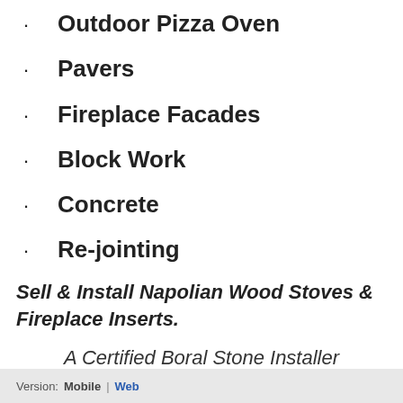Outdoor Pizza Oven
Pavers
Fireplace Facades
Block Work
Concrete
Re-jointing
Sell & Install Napolian Wood Stoves & Fireplace Inserts.
A Certified Boral Stone Installer
Version: Mobile | Web